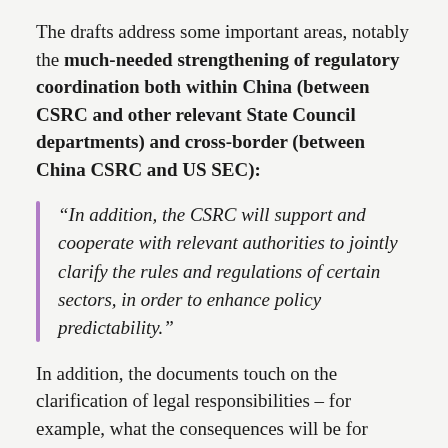The drafts address some important areas, notably the much-needed strengthening of regulatory coordination both within China (between CSRC and other relevant State Council departments) and cross-border (between China CSRC and US SEC):
“In addition, the CSRC will support and cooperate with relevant authorities to jointly clarify the rules and regulations of certain sectors, in order to enhance policy predictability.”
In addition, the documents touch on the clarification of legal responsibilities – for example, what the consequences will be for companies that fail to perform the necessary filing procedures (as has been the case with Didi). The circumstances under which offshore listings will not be allowed is